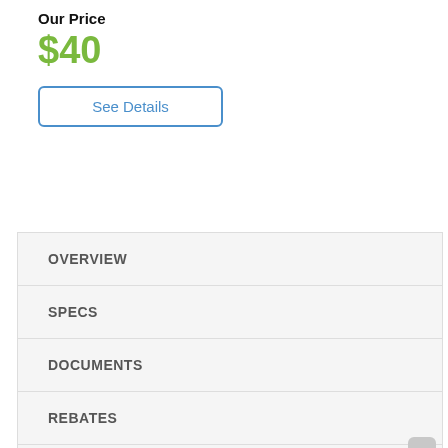Our Price
$40
See Details
OVERVIEW
SPECS
DOCUMENTS
REBATES
DELIVERY
WARRANTY